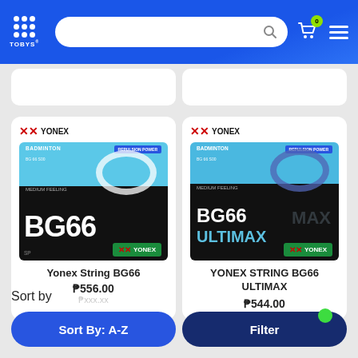Tobys - Search bar - Cart (0) - Menu
[Figure (photo): Yonex String BG66 product image - black and cyan packaging]
Yonex String BG66
₱556.00
[Figure (photo): YONEX STRING BG66 ULTIMAX product image - black and cyan packaging]
YONEX STRING BG66 ULTIMAX
₱544.00
Sort by
Sort By: A-Z
Filter